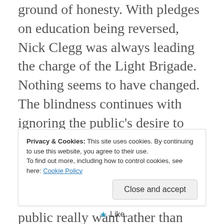ground of honesty. With pledges on education being reversed, Nick Clegg was always leading the charge of the Light Brigade. Nothing seems to have changed. The blindness continues with ignoring the public's desire to leave the EU quoting only a knife edge majority of 1.3 million. Lib Dems are still in la la land. Tune in to what the public really want rather than what they think they should want. Mentioning racists communism and
Privacy & Cookies: This site uses cookies. By continuing to use this website, you agree to their use. To find out more, including how to control cookies, see here: Cookie Policy
Close and accept
Like